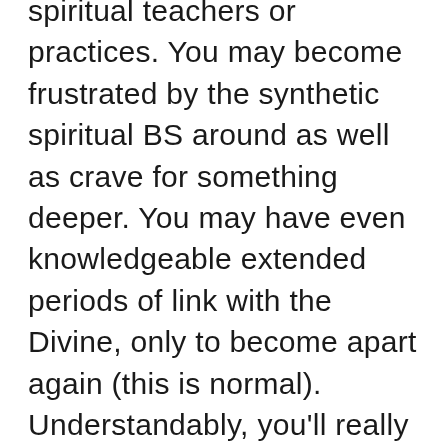spiritual teachers or practices. You may become frustrated by the synthetic spiritual BS around as well as crave for something deeper. You may have even knowledgeable extended periods of link with the Divine, only to become apart again (this is normal). Understandably, you'll really feel disturbed as well as deeply disturbed by this experience. Additionally, while you may have experienced many mental/emotional/spiritual developments, they may feel shallow. You crave for authenticity and also for deep spirituality that penetrates your life and transforms every part of you. The distress and also stagnation you feel will motivate you to enter search for a lot more.